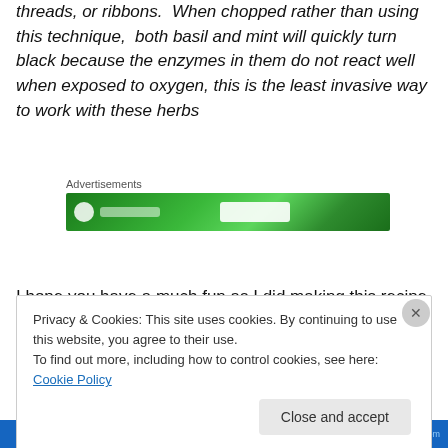threads, or ribbons.  When chopped rather than using this technique,  both basil and mint will quickly turn black because the enzymes in them do not react well when exposed to oxygen, this is the least invasive way to work with these herbs
[Figure (other): Green advertisement banner with circular logo and button elements]
I hope you have a much fun as I did making this recipe
Privacy & Cookies: This site uses cookies. By continuing to use this website, you agree to their use.
To find out more, including how to control cookies, see here: Cookie Policy
Close and accept